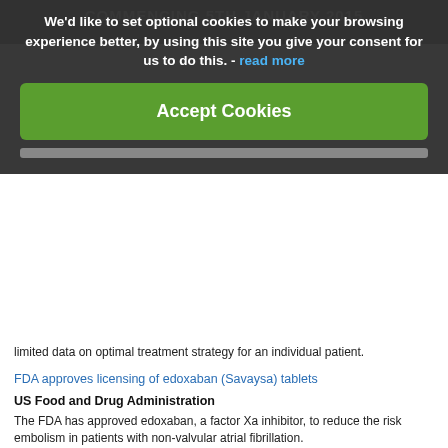COMMENCING 5TH JANUARY 2015
We'd like to set optional cookies to make your browsing experience better, by using this site you give your consent for us to do this. - read more
Accept Cookies
limited data on optimal treatment strategy for an individual patient.
FDA approves licensing of edoxaban (Savaysa) tablets
US Food and Drug Administration
The FDA has approved edoxaban, a factor Xa inhibitor, to reduce the risk embolism in patients with non-valvular atrial fibrillation.
d-Dimer Testing to Select Patients With a First Unprovoked Venous Thromboembolism for Indefinite Anticoagulant Therapy: A Cohort Study
Annals of Internal Medicine
This cohort study found a 6.7% per patient-year (PPY) risk for recurrent VTE in unprovoked proximal DVT or PE who had a negative d-dimer test result d